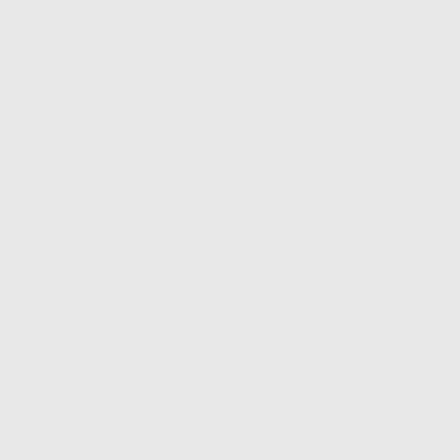times, so more especially in the house in order.' That is a work of life. Upon which ac
' count it is called in scripture, being renewed in the spirit of our deceitful lust of the flesh,' and a holiness. That so great a change resolution to put it in execution, our sins: 2. An
6
humble confession of them: 3. A God with all our hearts : 4. A pat
These are the constituent and ess following motives of reason and
The first part of true repentanc effect, as we'may learn from St P repentance. Without it, to be sure